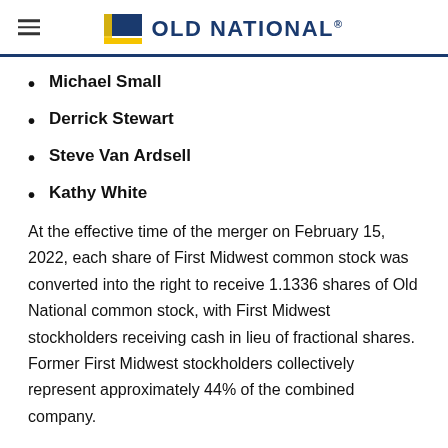OLD NATIONAL
Michael Small
Derrick Stewart
Steve Van Ardsell
Kathy White
At the effective time of the merger on February 15, 2022, each share of First Midwest common stock was converted into the right to receive 1.1336 shares of Old National common stock, with First Midwest stockholders receiving cash in lieu of fractional shares. Former First Midwest stockholders collectively represent approximately 44% of the combined company.